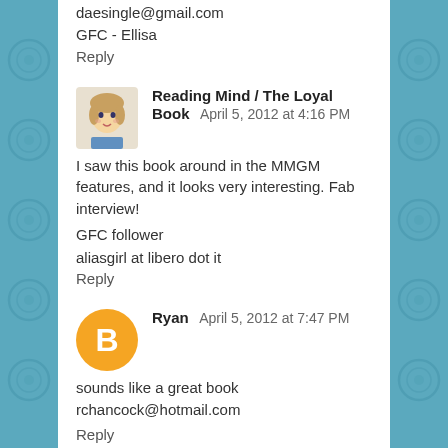daesingle@gmail.com
GFC - Ellisa
Reply
Reading Mind / The Loyal Book   April 5, 2012 at 4:16 PM
I saw this book around in the MMGM features, and it looks very interesting. Fab interview!
GFC follower
aliasgirl at libero dot it
Reply
Ryan   April 5, 2012 at 7:47 PM
sounds like a great book
rchancock@hotmail.com
Reply